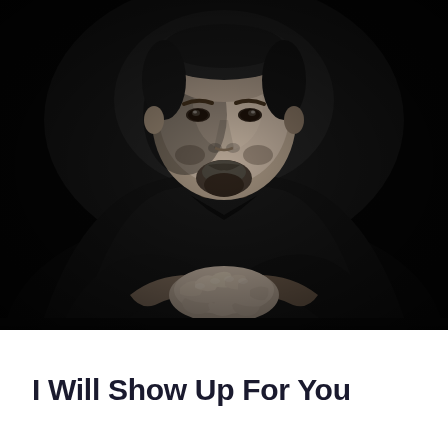[Figure (photo): Black and white dramatic portrait of a middle-aged man with a short beard, wearing a dark polo shirt, leaning forward with his hands clasped together resting on a surface. Dark background, serious expression, looking directly at camera.]
I Will Show Up For You